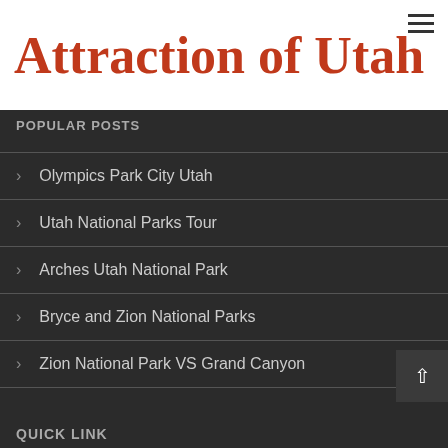Attraction of Utah
POPULAR POSTS
Olympics Park City Utah
Utah National Parks Tour
Arches Utah National Park
Bryce and Zion National Parks
Zion National Park VS Grand Canyon
QUICK LINK